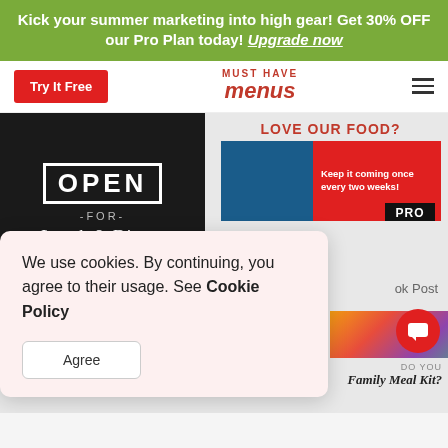Kick your summer marketing into high gear! Get 30% OFF our Pro Plan today! Upgrade now
[Figure (screenshot): Navigation bar with Try It Free red button, Must Have Menus logo in red, and hamburger menu icon]
[Figure (screenshot): Restaurant chalkboard sign reading OPEN FOR Lunch & Dinner]
LOVE OUR FOOD?
[Figure (screenshot): Food promo image with red band reading: Keep it coming once every two weeks! PRO badge visible]
ok Post
[Figure (photo): Colorful food dish photo]
[Figure (screenshot): Cookie consent popup: We use cookies. By continuing, you agree to their usage. See Cookie Policy. Agree button.]
We use cookies. By continuing, you agree to their usage. See Cookie Policy
Agree
Kyoshi Kitchen is
NOW HIRING
DO YOU
Family Meal Kit?